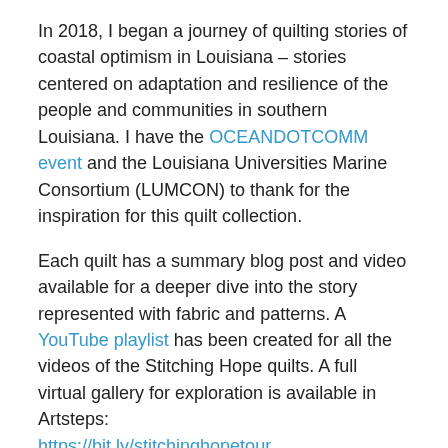In 2018, I began a journey of quilting stories of coastal optimism in Louisiana – stories centered on adaptation and resilience of the people and communities in southern Louisiana. I have the OCEANDOTCOMM event and the Louisiana Universities Marine Consortium (LUMCON) to thank for the inspiration for this quilt collection.
Each quilt has a summary blog post and video available for a deeper dive into the story represented with fabric and patterns. A YouTube playlist has been created for all the videos of the Stitching Hope quilts. A full virtual gallery for exploration is available in Artsteps:
https://bit.ly/stitchinghopetour
Stitching Hope for the Louisiana Coast – Introductory Quilt (blog post, YouTube video), 48 inches x 48 inches